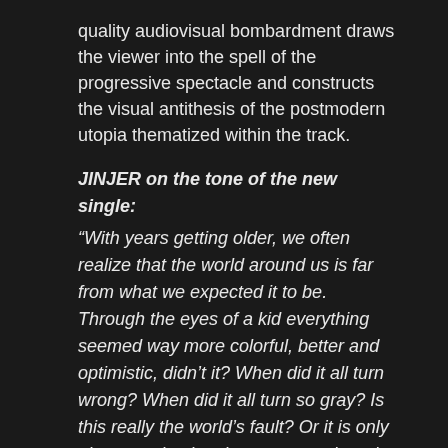quality audiovisual bombardment draws the viewer into the spell of the progressive spectacle and constructs the visual antithesis of the postmodern utopia thematized within the track.
JINJER on the tone of the new single:
“With years getting older, we often realize that the world around us is far from what we expected it to be. Through the eyes of a kid everything seemed way more colorful, better and optimistic, didn’t it? When did it all turn wrong? When did it all turn so gray? Is this really the world’s fault? Or it is only about us chasing the wrong goals… the wrong careers, ambitions and achievements, rather than embracing one important truth… Rephrasing John Lennon, if one chases something else other than happiness, then they didn’t understand life at all…”